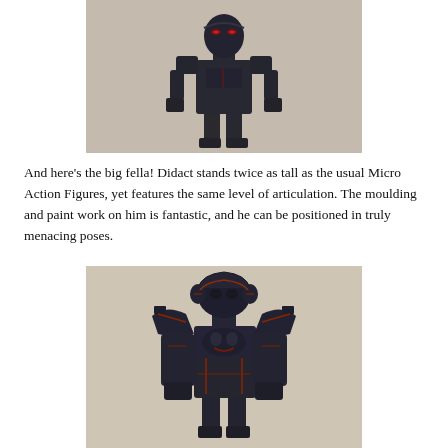[Figure (photo): Front-facing photo of a large dark robotic/armored action figure (Didact) standing with arms out, on a beige background. The figure has dark grey/black armor with red accents on the eyes and body.]
And here's the big fella! Didact stands twice as tall as the usual Micro Action Figures, yet features the same level of articulation. The moulding and paint work on him is fantastic, and he can be positioned in truly menacing poses.
[Figure (photo): Second photo of the same large dark armored Didact action figure, shown from a slightly different angle, displaying the detailed dark grey/black armor with red/orange accent lines and articulated joints.]